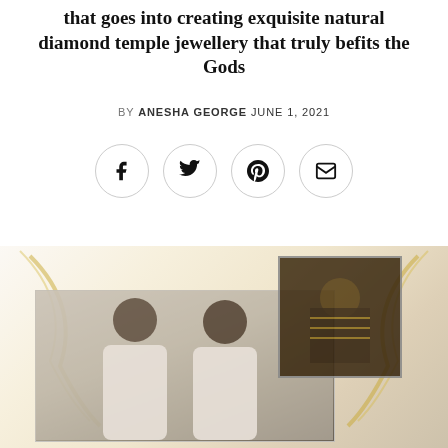that goes into creating exquisite natural diamond temple jewellery that truly befits the Gods
BY ANESHA GEORGE JUNE 1, 2021
[Figure (illustration): Social media sharing icons: Facebook, Twitter, Pinterest, Email — each in a circular border]
[Figure (photo): Two men in white shirts posing together, with an inset image of a deity adorned with jewellery, overlaid on a background showing ornate diamond necklace jewellery]